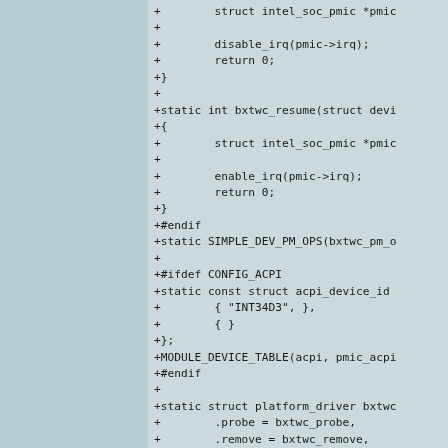[Figure (screenshot): Source code diff snippet showing C code for bxtwc driver including suspend/resume functions, ACPI device ID table, MODULE_DEVICE_TABLE, and platform_driver struct with probe, remove, shutdown, and driver fields.]